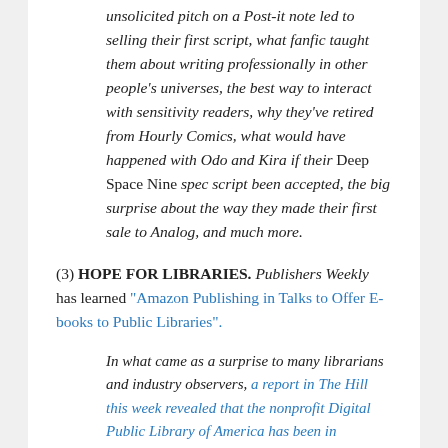unsolicited pitch on a Post-it note led to selling their first script, what fanfic taught them about writing professionally in other people's universes, the best way to interact with sensitivity readers, why they've retired from Hourly Comics, what would have happened with Odo and Kira if their Deep Space Nine spec script been accepted, the big surprise about the way they made their first sale to Analog, and much more.
(3) HOPE FOR LIBRARIES. Publishers Weekly has learned "Amazon Publishing in Talks to Offer E-books to Public Libraries".
In what came as a surprise to many librarians and industry observers, a report in The Hill this week revealed that the nonprofit Digital Public Library of America has been in discussions with Amazon Publishing on a potential a deal to make Amazon's e-book content available in public libraries...